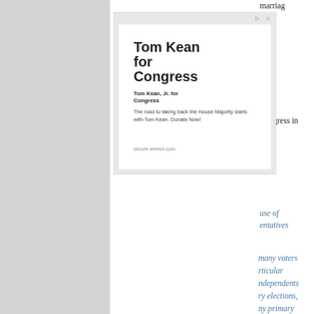marriag
[Figure (screenshot): Online advertisement for Tom Kean for Congress campaign. White box with large bold headline 'Tom Kean for Congress', subheading 'Tom Kean, Jr. for Congress', body text 'The road to taking back the House Majority starts with Tom Kean. Donate Now!', and URL 'secure.winred.com'. Ad icons (play/close) at top right of gray container.]
Congress in
use of
entatives
many voters
rticular
ndependents
ry elections,
ny primary
dents can b